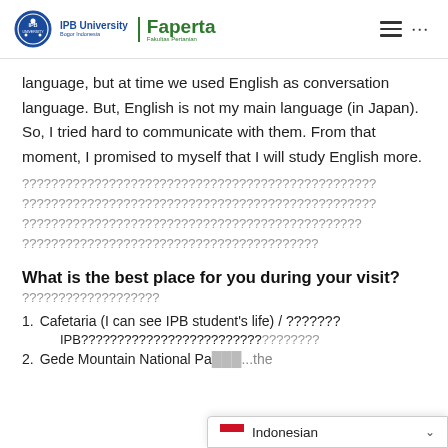IPB University | Faperta - Fakultas Pertanian
language, but at time we used English as conversation language. But, English is not my main language (in Japan). So, I tried hard to communicate with them. From that moment, I promised to myself that I will study English more.
?????????????????????????????????????????????????????????????????????????????????????????????????????????????????????????????????????????????????????????????????????????????????????????????????????????????????????????????????
What is the best place for you during your visit?
???????????????????
Cafetaria (I can see IPB student's life) / ???????
IPB?????????????????????????
Gede Mountain National Pa... the